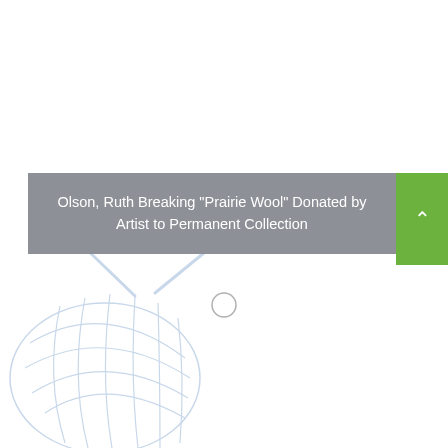Olson, Ruth Breaking "Prairie Wool" Donated by Artist to Permanent Collection
[Figure (illustration): Light blue outline illustration of a ball of yarn with knitting needles, decorative background watermark in lower left portion of page]